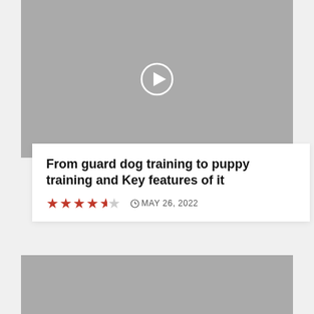[Figure (other): Gray video thumbnail with white play button circle in the center]
From guard dog training to puppy training and Key features of it
★★★★☆  MAY 26, 2022
[Figure (photo): Gray image placeholder at bottom of page]